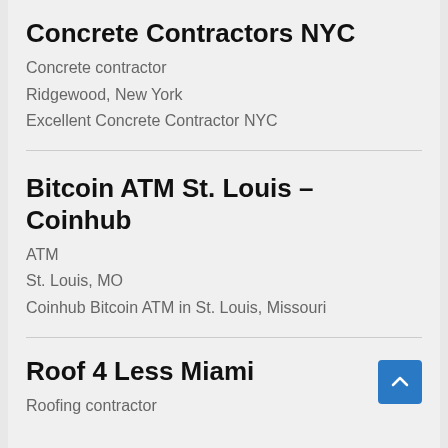Concrete Contractors NYC
Concrete contractor
Ridgewood, New York
Excellent Concrete Contractor NYC
Bitcoin ATM St. Louis – Coinhub
ATM
St. Louis, MO
Coinhub Bitcoin ATM in St. Louis, Missouri
Roof 4 Less Miami
Roofing contractor